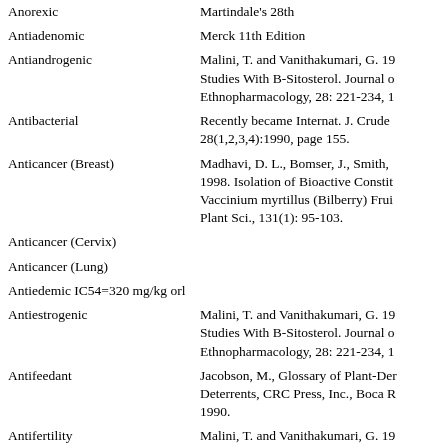| Activity | Reference |
| --- | --- |
| Anorexic | Martindale's 28th |
| Antiadenomic | Merck 11th Edition |
| Antiandrogenic | Malini, T. and Vanithakumari, G. 19... Studies With B-Sitosterol. Journal of Ethnopharmacology, 28: 221-234, 1... |
| Antibacterial | Recently became Internat. J. Crude... 28(1,2,3,4):1990, page 155. |
| Anticancer (Breast) | Madhavi, D. L., Bomser, J., Smith, ... 1998. Isolation of Bioactive Constit... Vaccinium myrtillus (Bilberry) Frui... Plant Sci., 131(1): 95-103. |
| Anticancer (Cervix) |  |
| Anticancer (Lung) |  |
| Antiedemic IC54=320 mg/kg orl |  |
| Antiestrogenic | Malini, T. and Vanithakumari, G. 19... Studies With B-Sitosterol. Journal of Ethnopharmacology, 28: 221-234, 1... |
| Antifeedant | Jacobson, M., Glossary of Plant-Der... Deterrents, CRC Press, Inc., Boca R... 1990. |
| Antifertility | Malini, T. and Vanithakumari, G. 19... Studies With B-Sitosterol. Journal of... |